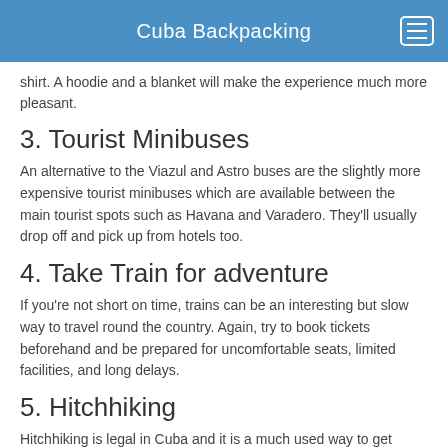Cuba Backpacking
shirt. A hoodie and a blanket will make the experience much more pleasant.
3. Tourist Minibuses
An alternative to the Viazul and Astro buses are the slightly more expensive tourist minibuses which are available between the main tourist spots such as Havana and Varadero. They'll usually drop off and pick up from hotels too.
4. Take Train for adventure
If you're not short on time, trains can be an interesting but slow way to travel round the country. Again, try to book tickets beforehand and be prepared for uncomfortable seats, limited facilities, and long delays.
5. Hitchhiking
Hitchhiking is legal in Cuba and it is a much used way to get around. It's actually against the law not to pick up hitchhikers if